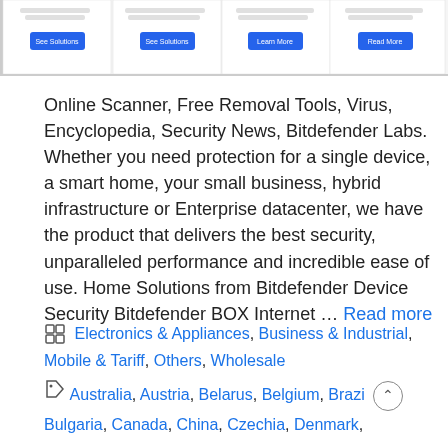[Figure (screenshot): Partial screenshot of a website showing four product/solution panels each with a 'See Solutions', 'See Solutions', 'Learn More', and 'Read More' button respectively, with small text above each button.]
Online Scanner, Free Removal Tools, Virus, Encyclopedia, Security News, Bitdefender Labs. Whether you need protection for a single device, a smart home, your small business, hybrid infrastructure or Enterprise datacenter, we have the product that delivers the best security, unparalleled performance and incredible ease of use. Home Solutions from Bitdefender Device Security Bitdefender BOX Internet … Read more
Electronics & Appliances, Business & Industrial, Mobile & Tariff, Others, Wholesale
Australia, Austria, Belarus, Belgium, Brazi Bulgaria, Canada, China, Czechia, Denmark,